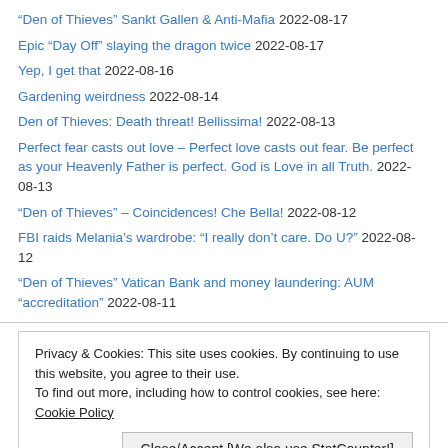“Den of Thieves” Sankt Gallen & Anti-Mafia 2022-08-17
Epic “Day Off” slaying the dragon twice 2022-08-17
Yep, I get that 2022-08-16
Gardening weirdness 2022-08-14
Den of Thieves: Death threat! Bellissima! 2022-08-13
Perfect fear casts out love – Perfect love casts out fear. Be perfect as your Heavenly Father is perfect. God is Love in all Truth. 2022-08-13
“Den of Thieves” – Coincidences! Che Bella! 2022-08-12
FBI raids Melania’s wardrobe: “I really don’t care. Do U?” 2022-08-12
“Den of Thieves” Vatican Bank and money laundering: AUM “accreditation” 2022-08-11
Privacy & Cookies: This site uses cookies. By continuing to use this website, you agree to their use. To find out more, including how to control cookies, see here: Cookie Policy
Close/Accept [We also use StatCounter!]
Blog at...